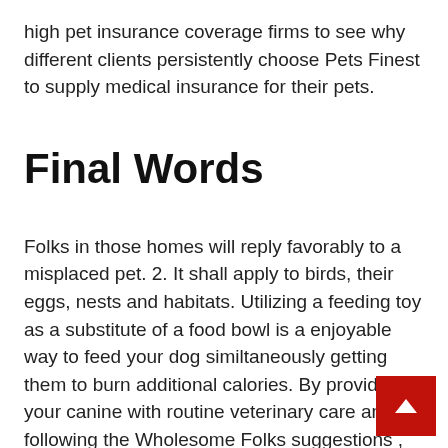high pet insurance coverage firms to see why different clients persistently choose Pets Finest to supply medical insurance for their pets.
Final Words
Folks in those homes will reply favorably to a misplaced pet. 2. It shall apply to birds, their eggs, nests and habitats. Utilizing a feeding toy as a substitute of a food bowl is a enjoyable way to feed your dog similtaneously getting them to burn additional calories. By providing your canine with routine veterinary care and following the Wholesome Folks suggestions , you might b h less likely to get sick from touching or inter with a dog. However, we consider offering extra complete pet health insurance coverage and